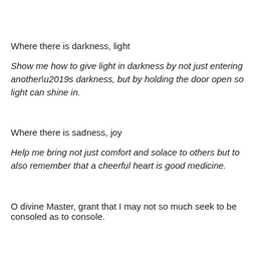Where there is darkness, light
Show me how to give light in darkness by not just entering another’s darkness, but by holding the door open so light can shine in.
Where there is sadness, joy
Help me bring not just comfort and solace to others but to also remember that a cheerful heart is good medicine.
O divine Master, grant that I may not so much seek to be consoled as to console.